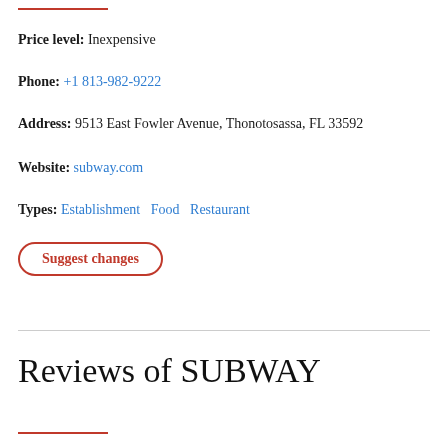Price level: Inexpensive
Phone: +1 813-982-9222
Address: 9513 East Fowler Avenue, Thonotosassa, FL 33592
Website: subway.com
Types: Establishment  Food  Restaurant
Suggest changes
Reviews of SUBWAY